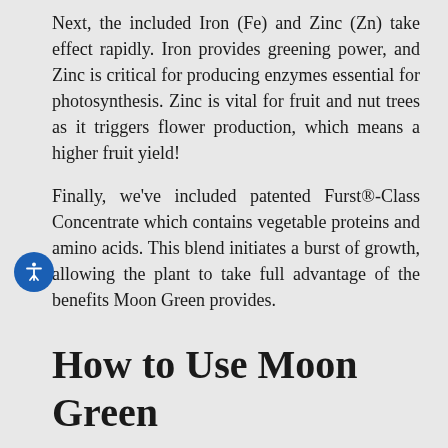Next, the included Iron (Fe) and Zinc (Zn) take effect rapidly. Iron provides greening power, and Zinc is critical for producing enzymes essential for photosynthesis. Zinc is vital for fruit and nut trees as it triggers flower production, which means a higher fruit yield!
Finally, we've included patented Furst®-Class Concentrate which contains vegetable proteins and amino acids. This blend initiates a burst of growth, allowing the plant to take full advantage of the benefits Moon Green provides.
How to Use Moon Green
Moon Green is easy to incorporate into your gardening and landscape care routine and should be used monthly for best results. Check